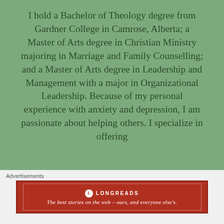I hold a Bachelor of Theology degree from Gardner College in Camrose, Alberta; a Master of Arts degree in Christian Ministry majoring in Marriage and Family Counselling; and a Master of Arts degree in Leadership and Management with a major in Organizational Leadership. Because of my personal experience with anxiety and depression, I am passionate about helping others. I specialize in offering
[Figure (other): Longreads advertisement banner with red background, logo, and tagline: 'The best stories on the web — ours, and everyone else's.']